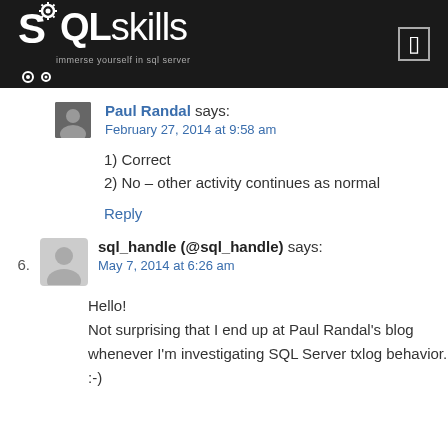[Figure (logo): SQLskills logo with tagline 'immerse yourself in sql server' on black header bar]
Paul Randal says:
February 27, 2014 at 9:58 am
1) Correct
2) No – other activity continues as normal
Reply
6.  sql_handle (@sql_handle) says:
May 7, 2014 at 6:26 am
Hello!
Not surprising that I end up at Paul Randal's blog whenever I'm investigating SQL Server txlog behavior. :-)